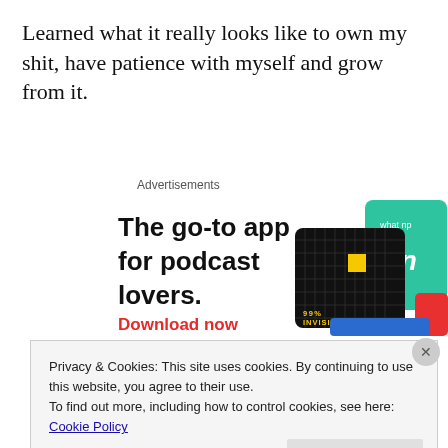Learned what it really looks like to own my shit, have patience with myself and grow from it.
Advertisements
[Figure (screenshot): Advertisement for a podcast app. Black card with yellow square and '99% INVISIBLE' text, green card with 'On' text, partially visible red and blue cards. Headline: 'The go-to app for podcast lovers.' with red 'Download now' link.]
Privacy & Cookies: This site uses cookies. By continuing to use this website, you agree to their use.
To find out more, including how to control cookies, see here: Cookie Policy
Close and accept